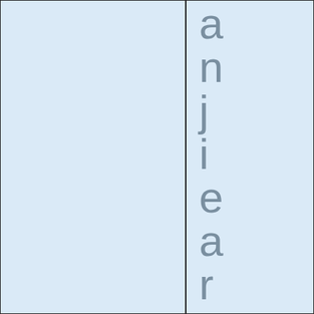[Figure (other): Two-column layout with light blue background cells. Left cell is empty. Right cell contains the word 'anjiearrингst' spelled vertically with one character per line in large gray sans-serif font, partially cut off at bottom.]
anjieaRrings t